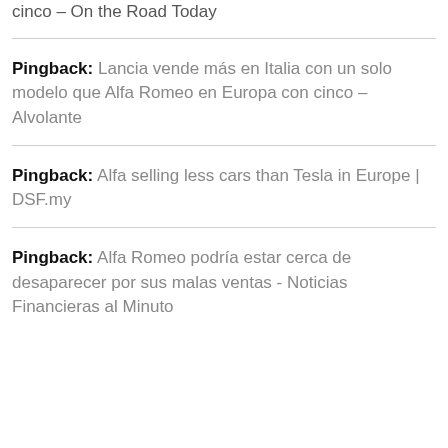cinco – On the Road Today
Pingback: Lancia vende más en Italia con un solo modelo que Alfa Romeo en Europa con cinco – Alvolante
Pingback: Alfa selling less cars than Tesla in Europe | DSF.my
Pingback: Alfa Romeo podría estar cerca de desaparecer por sus malas ventas - Noticias Financieras al Minuto